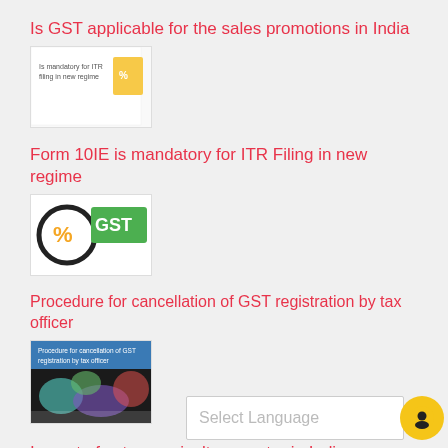Is GST applicable for the sales promotions in India
[Figure (photo): Thumbnail image for article about GST applicability for sales promotions]
Form 10IE is mandatory for ITR Filing in new regime
[Figure (photo): Thumbnail image showing GST logo with percentage symbol on green background]
Procedure for cancellation of GST registration by tax officer
[Figure (photo): Thumbnail image for GST registration cancellation article with blue header and colorful abstract image]
Impact of gst on agriculture sector in India
[Figure (photo): Thumbnail image for article about GST impact on agriculture sector]
Select Language